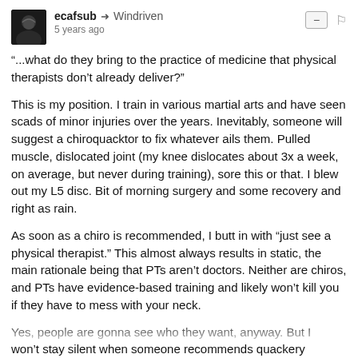ecafsub → Windriven
5 years ago
"...what do they bring to the practice of medicine that physical therapists don't already deliver?"
This is my position. I train in various martial arts and have seen scads of minor injuries over the years. Inevitably, someone will suggest a chiroquacktor to fix whatever ails them. Pulled muscle, dislocated joint (my knee dislocates about 3x a week, on average, but never during training), sore this or that. I blew out my L5 disc. Bit of morning surgery and some recovery and right as rain.
As soon as a chiro is recommended, I butt in with "just see a physical therapist." This almost always results in static, the main rationale being that PTs aren't doctors. Neither are chiros, and PTs have evidence-based training and likely won't kill you if they have to mess with your neck.
Yes, people are gonna see who they want, anyway. But I won't stay silent when someone recommends quackery
see more